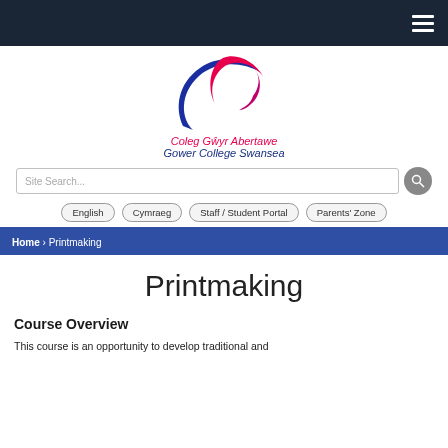[Figure (logo): Gower College Swansea logo with swooping blue and pink/red curves forming a stylized C shape, with text 'Coleg Gŵyr Abertawe' in red italic and 'Gower College Swansea' in dark blue italic below]
Site Search...
English   Cymraeg   Staff / Student Portal   Parents' Zone
Home › Printmaking
Printmaking
Course Overview
This course is an opportunity to develop traditional and